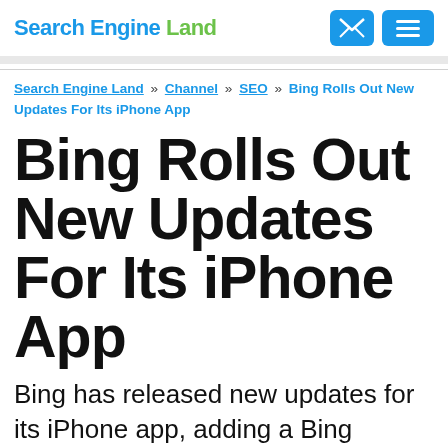Search Engine Land
Search Engine Land » Channel » SEO » Bing Rolls Out New Updates For Its iPhone App
Bing Rolls Out New Updates For Its iPhone App
Bing has released new updates for its iPhone app, adding a Bing Translator button, as well as including Bing's image